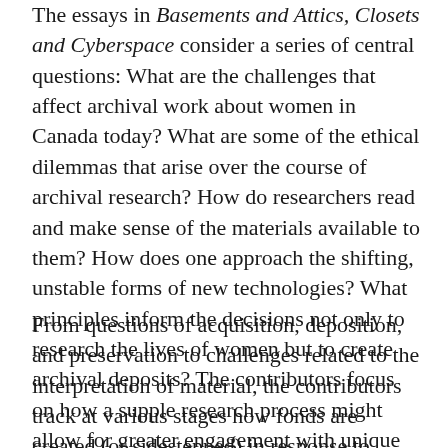The essays in Basements and Attics, Closets and Cyberspace consider a series of central questions: What are the challenges that affect archival work about women in Canada today? What are some of the ethical dilemmas that arise over the course of archival research? How do researchers read and make sense of the materials available to them? How does one approach the shifting, unstable forms of new technologies? What principles inform the decisions not only to research the lives of women but to create archival deposits? The contributors focus on how a supple research process might allow for greater engagement with unique archival forms and critical absences in narratives of past and present.
From questions of acquisition, deposition, and preservation to challenges related to the interpretation of material, the contributors track at various stages how fonds are created (or sidestepped) in response to national and other imperatives and to feminist commitments; how archival